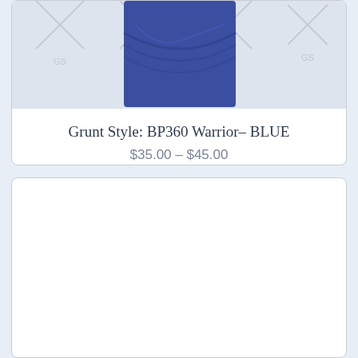[Figure (photo): Blue folded/twisted fabric item (shirt or headband) on a light background with watermark logos]
Grunt Style: BP360 Warrior– BLUE
$35.00 – $45.00